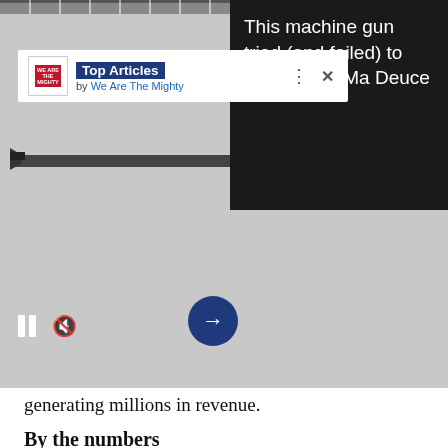[Figure (screenshot): Screenshot of a web article page showing a machine gun image with a 'Top Articles by We Are The Mighty' overlay bar, dark panel with headline 'This machine gun tried (and failed) to replace the Ma Deuce', and playback controls with a forward navigation button.]
generating millions in revenue.
By the numbers
Jobs created: 1,600+
Hours of mentorship: 2,500+
Alumni entrepreneurs: 850+
Entrepreneurs attending PBC Utah: Coming from 23 states, one
from Austria
Capital raised by alumni: 0 million